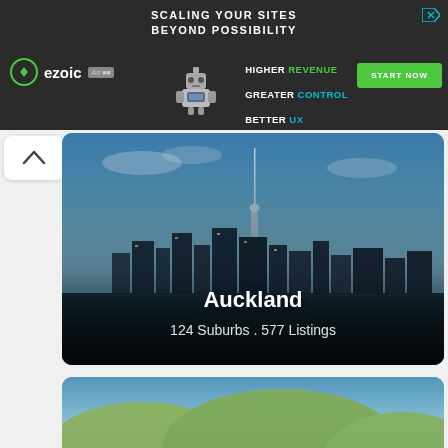[Figure (screenshot): Ezoic advertisement banner with dark background, robot mascot, 'Scaling Your Sites Beyond Possibility' headline, and 'Start Now' button]
[Figure (photo): Aerial cityscape photo of Auckland, New Zealand skyline with Sky Tower visible, overlaid with text 'Auckland' and '124 Suburbs . 577 Listings']
[Figure (photo): Aerial photo of Wellington, New Zealand showing harbor, hills and city buildings]